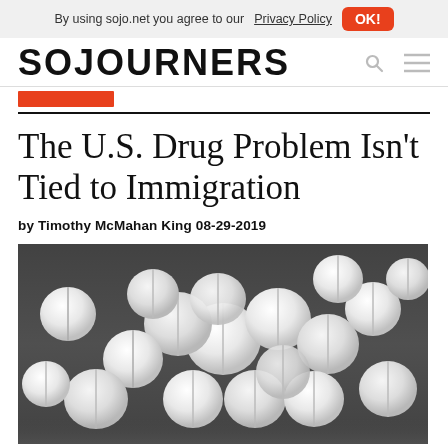By using sojo.net you agree to our Privacy Policy  OK!
SOJOURNERS
The U.S. Drug Problem Isn't Tied to Immigration
by Timothy McMahan King 08-29-2019
[Figure (photo): Black and white close-up photograph of multiple white round pharmaceutical pills/tablets scattered on a dark surface]